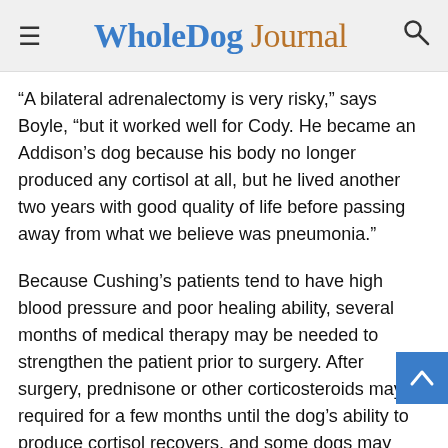Whole Dog Journal
“A bilateral adrenalectomy is very risky,” says Boyle, “but it worked well for Cody. He became an Addison’s dog because his body no longer produced any cortisol at all, but he lived another two years with good quality of life before passing away from what we believe was pneumonia.”
Because Cushing’s patients tend to have high blood pressure and poor healing ability, several months of medical therapy may be needed to strengthen the patient prior to surgery. After surgery, prednisone or other corticosteroids may be required for a few months until the dog’s ability to produce cortisol recovers, and some dogs may need mineralocorticoid replacement as well.
In a survey of 63 dogs who had surgery, 4 (6 percent) had